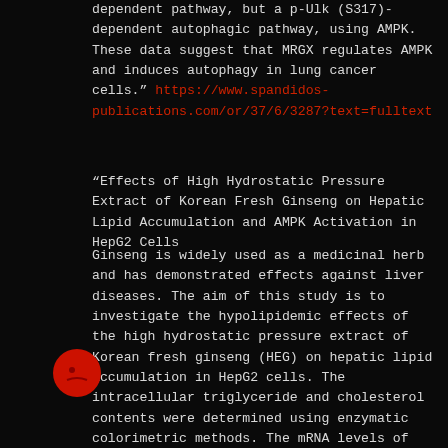dependent pathway, but a p-Ulk (S317)-dependent autophagic pathway, using AMPK. These data suggest that MRGX regulates AMPK and induces autophagy in lung cancer cells." https://www.spandidos-publications.com/or/37/6/3287?text=fulltext
“Effects of High Hydrostatic Pressure Extract of Korean Fresh Ginseng on Hepatic Lipid Accumulation and AMPK Activation in HepG2 Cells
Ginseng is widely used as a medicinal herb and has demonstrated effects against liver diseases. The aim of this study is to investigate the hypolipidemic effects of the high hydrostatic pressure extract of Korean fresh ginseng (HEG) on hepatic lipid accumulation in HepG2 cells. The intracellular triglyceride and cholesterol contents were determined using enzymatic colorimetric methods. The mRNA levels of fatty acid synthase (FAS) and 3- hydroxy-3-methyl-glutaryl CoA reductase (HMGCR) were assayed by quantitative real-time PCR. ctivity of AMP-activated protein kinase (AMPK) easured with an AMPK kinase assay kit. HEG .icantly reduced hepatic triglyceride and cholesterol contents in HepG2 cells. Furthermore, HEG
[Figure (illustration): Red circular icon with a face-like appearance, partially overlapping the text block on the left side.]